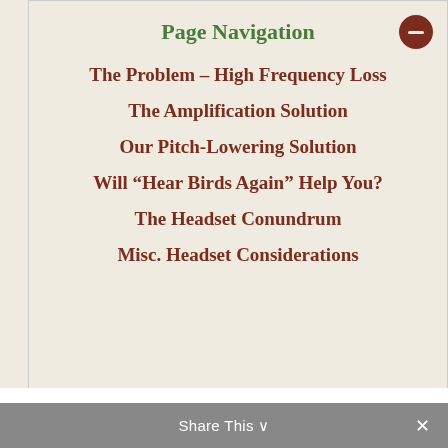Page Navigation
The Problem – High Frequency Loss
The Amplification Solution
Our Pitch-Lowering Solution
Will “Hear Birds Again” Help You?
The Headset Conundrum
Misc. Headset Considerations
1) The headset must include two “super low-noise” input mics, securely mounted next to each ear (mics with low self-noise are especially important for detecting soft and distant bird songs in natural environments).